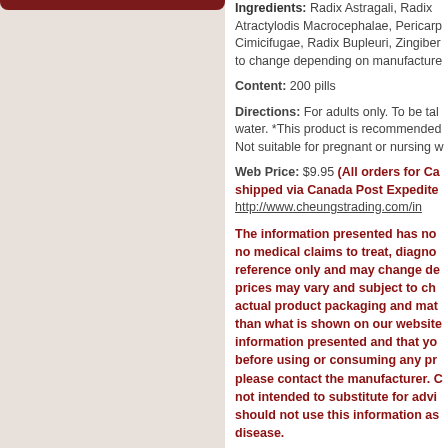Ingredients: Radix Astragali, Radix Atractylodis Macrocephalae, Pericarp Cimicifugae, Radix Bupleuri, Zingiber... to change depending on manufacturer.
Content: 200 pills
Directions: For adults only. To be taken with water. *This product is recommended... Not suitable for pregnant or nursing w...
Web Price: $9.95 (All orders for Ca... shipped via Canada Post Expedite... http://www.cheungstrading.com/in...
The information presented has no... no medical claims to treat, diagno... reference only and may change de... prices may vary and subject to ch... actual product packaging and mat... than what is shown on our website... information presented and that yo... before using or consuming any pr... please contact the manufacturer. C... not intended to substitute for advi... should not use this information as... disease.
42 Units in Stock